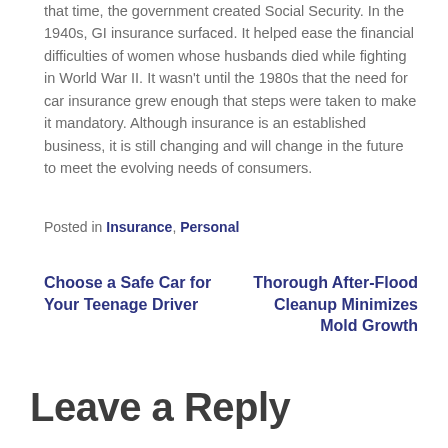that time, the government created Social Security. In the 1940s, GI insurance surfaced. It helped ease the financial difficulties of women whose husbands died while fighting in World War II. It wasn't until the 1980s that the need for car insurance grew enough that steps were taken to make it mandatory. Although insurance is an established business, it is still changing and will change in the future to meet the evolving needs of consumers.
Posted in Insurance, Personal
Choose a Safe Car for Your Teenage Driver
Thorough After-Flood Cleanup Minimizes Mold Growth
Leave a Reply